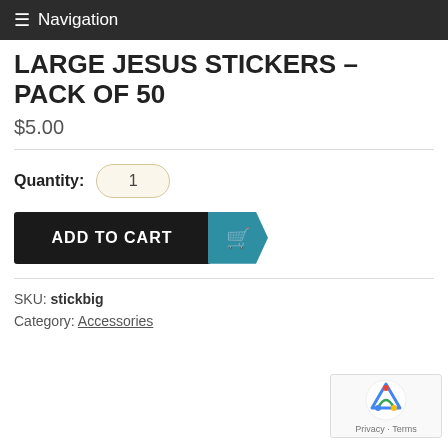≡ Navigation
LARGE JESUS STICKERS – PACK OF 50
$5.00
Quantity: 1
ADD TO CART
SKU: stickbig
Category: Accessories